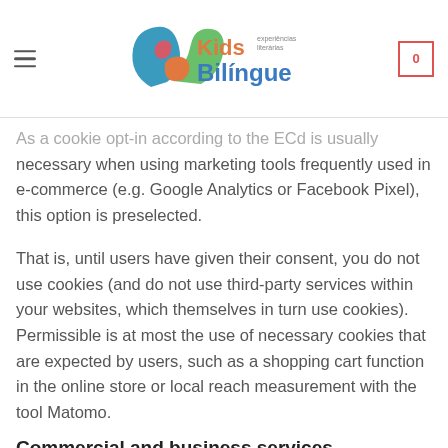Cookie settings — Kids Bilíngue — options
As a cookie opt-in according to the ECd is usually necessary when using marketing tools frequently used in e-commerce (e.g. Google Analytics or Facebook Pixel), this option is preselected.
That is, until users have given their consent, you do not use cookies (and do not use third-party services within your websites, which themselves in turn use cookies). Permissible is at most the use of necessary cookies that are expected by users, such as a shopping cart function in the online store or local reach measurement with the tool Matomo.
Commercial and business services
We process data of our contractual and business partners, e.g. customers and prospective customers (collectively...